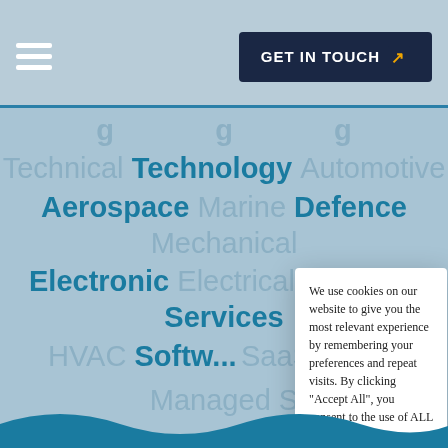GET IN TOUCH
Technical Technology Automotive Aerospace Marine Defence Mechanical Electronic Electrical Building Services HVAC Software SaaS Telecoms Managed Services MarTech AI Oil & Gas Pharmaceuticals
We use cookies on our website to give you the most relevant experience by remembering your preferences and repeat visits. By clicking "Accept All", you consent to the use of ALL the cookies. However, you may visit "Cookie Settings" to provide a controlled consent.
Cookie Settings  Accept All